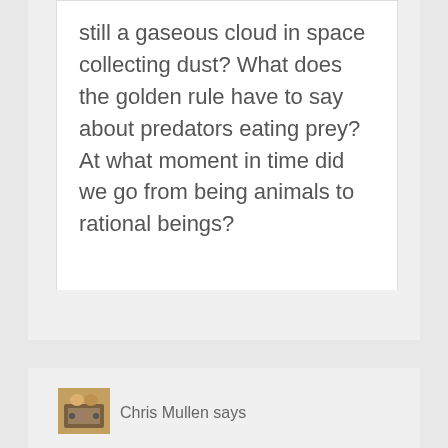still a gaseous cloud in space collecting dust? What does the golden rule have to say about predators eating prey? At what moment in time did we go from being animals to rational beings?
Chris Mullen says